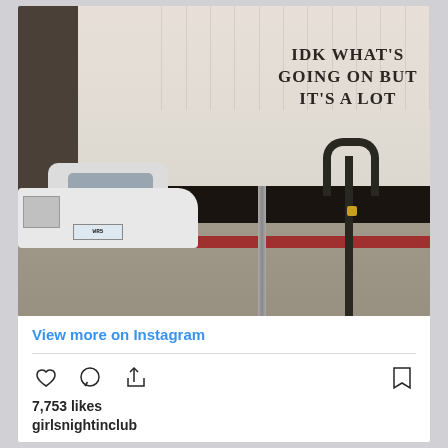[Figure (photo): Street photo of a building storefront with large windows displaying white curtains and text reading 'IDK WHAT'S GOING ON BUT IT'S A LOT'. A white car is parked on the left, and metal poles/bike rack stand on the sidewalk in front of the dark stone facade.]
View more on Instagram
7,753 likes
girlsnightinclub